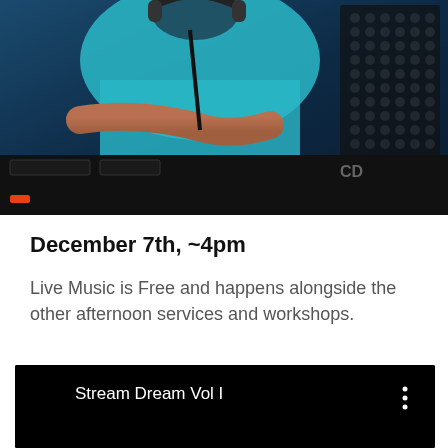[Figure (photo): A DJ or musician performing, hands visible over DJ equipment/turntables, lit in blue tones. Bottom of frame shows equipment panel with 'CD' visible.]
December 7th, ~4pm
Live Music is Free and happens alongside the other afternoon services and workshops.
[Figure (screenshot): A black video player interface showing the title 'Stream Dream Vol I' in white text on left, with a three-dot menu icon on the right. The main video area is black.]